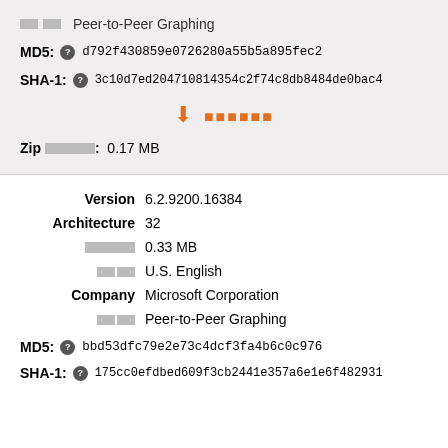□□ Peer-to-Peer Graphing
MD5: ⓘ d792f430859e0726280a55b5a895fec2
SHA-1: ⓘ 3c10d7ed204710814354c2f74c8db8484de0bac4
⬇ □□□□□□□
Zip □□□□□□□: 0.17 MB
Version 6.2.9200.16384
Architecture 32
□□□□□□□ 0.33 MB
□□ U.S. English
Company Microsoft Corporation
□□ Peer-to-Peer Graphing
MD5: ⓘ bbd53dfc79e2e73c4dcf3fa4b6c0c976
SHA-1: ⓘ 175cc0efdbed609f3cb2441e357a6e1e6f482931